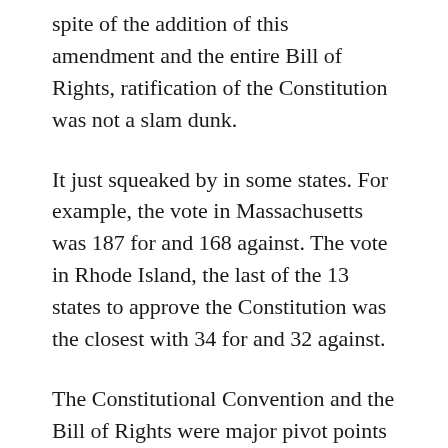spite of the addition of this amendment and the entire Bill of Rights, ratification of the Constitution was not a slam dunk.
It just squeaked by in some states. For example, the vote in Massachusetts was 187 for and 168 against. The vote in Rhode Island, the last of the 13 states to approve the Constitution was the closest with 34 for and 32 against.
The Constitutional Convention and the Bill of Rights were major pivot points in American history that impacted the social and economic terrain of the nation and its citizens. There have been scores of other pivot points through the years that have impacted the tensions between states rights and federal rights and have determined whether our